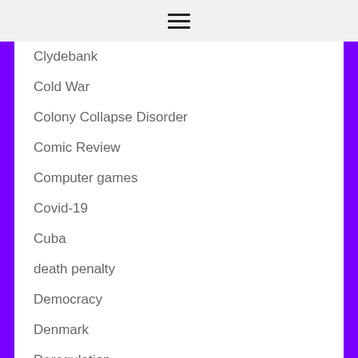≡
Clydebank
Cold War
Colony Collapse Disorder
Comic Review
Computer games
Covid-19
Cuba
death penalty
Democracy
Denmark
Deregulation
Disabled Rights
Donald Trump
Dublin